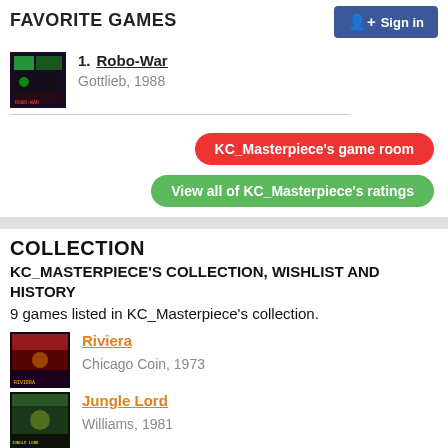FAVORITE GAMES
Sign in
1. Robo-War
Gottlieb, 1988
KC_Masterpiece's game room
View all of KC_Masterpiece's ratings
COLLECTION
KC_MASTERPIECE'S COLLECTION, WISHLIST AND HISTORY
9 games listed in KC_Masterpiece's collection.
Riviera
Chicago Coin, 1973
Jungle Lord
Williams, 1981